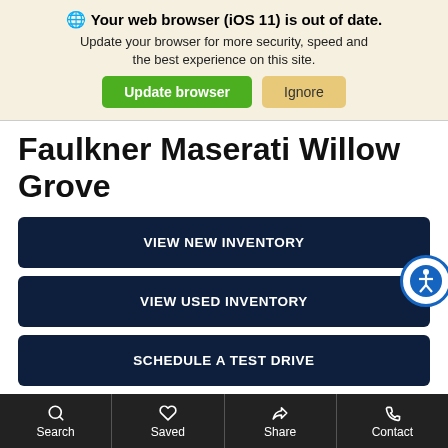🌐 Your web browser (iOS 11) is out of date. Update your browser for more security, speed and the best experience on this site.
Update browser | Ignore
Faulkner Maserati Willow Grove
VIEW NEW INVENTORY
VIEW USED INVENTORY
SCHEDULE A TEST DRIVE
Thank You for Choosing Faulkner Maserati Willow Grove.
Search | Saved | Share | Contact